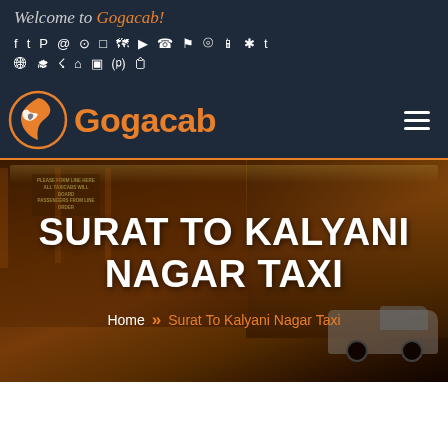Welcome to Gogacab!
[Figure (infographic): Row of social media and app icons: Facebook, Twitter, Pinterest, Instagram, globe, box/shipping, map, YouTube, phone, flag, location pin, mobile, person/accessibility, Tumblr, globe, graduation cap, RSS, home, 3D box, Google, document]
[Figure (logo): Gogacab logo: orange stylized bird/flame icon on left, orange bold text 'Gogacab' on right, on dark navy background. Hamburger menu icon on far right.]
SURAT TO KALYANI NAGAR TAXI
Home » Surat To Kalyani Nagar Taxi